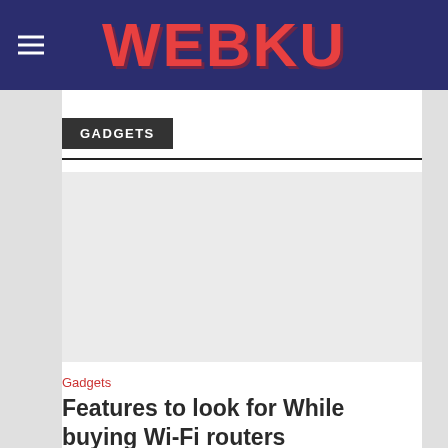WEBKU
GADGETS
[Figure (photo): Light gray image placeholder rectangle]
Gadgets
Features to look for While buying Wi-Fi routers
Add Comment